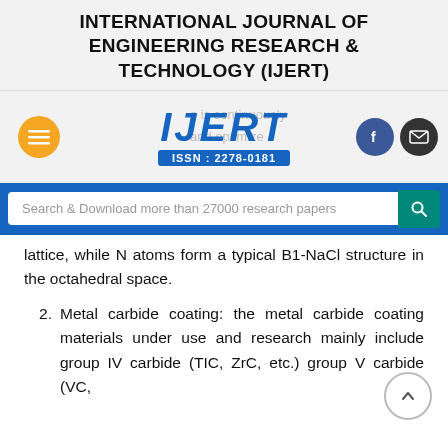INTERNATIONAL JOURNAL OF ENGINEERING RESEARCH & TECHNOLOGY (IJERT)
[Figure (logo): IJERT logo with ISSN: 2278-0181, hamburger menu button (orange), Facebook button (blue), mail button (black), and watermark text partially visible]
[Figure (screenshot): Search bar with text 'Search & Download more than 27000 research papers' and teal search button]
lattice, while N atoms form a typical B1-NaCl structure in the octahedral space.
2. Metal carbide coating: the metal carbide coating materials under use and research mainly include group IV carbide (TIC, ZrC, etc.) group V carbide (VC,
[Figure (other): Scroll-to-top circular button with upward chevron]